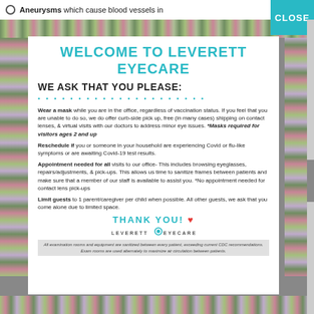Aneurysms which cause blood vessels in
WELCOME TO LEVERETT EYECARE
WE ASK THAT YOU PLEASE:
Wear a mask while you are in the office, regardless of vaccination status. If you feel that you are unable to do so, we do offer curb-side pick up, free (in many cases) shipping on contact lenses, & virtual visits with our doctors to address minor eye issues. *Masks required for visitors ages 2 and up
Reschedule if you or someone in your household are experiencing Covid or flu-like symptoms or are awaiting Covid-19 test results.
Appointment needed for all visits to our office- This includes browsing eyeglasses, repairs/adjustments, & pick-ups. This allows us time to sanitize frames between patients and make sure that a member of our staff is available to assist you. *No appointment needed for contact lens pick-ups
Limit guests to 1 parent/caregiver per child when possible. All other guests, we ask that you come alone due to limited space.
THANK YOU! ♥
[Figure (logo): LEVERETT EYECARE logo]
All examination rooms and equipment are sanitized between every patient, exceeding current CDC recommendations. Exam rooms are used alternately to maximize air circulation between patients.